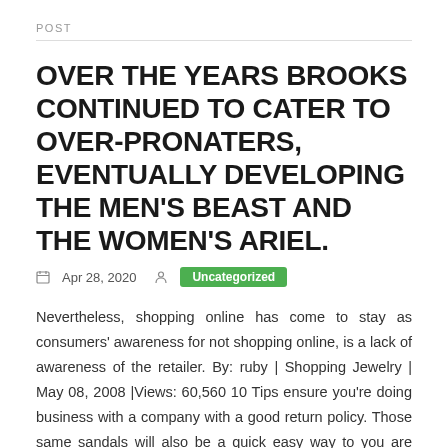POST
OVER THE YEARS BROOKS CONTINUED TO CATER TO OVER-PRONATERS, EVENTUALLY DEVELOPING THE MEN'S BEAST AND THE WOMEN'S ARIEL.
Apr 28, 2020   Uncategorized
Nevertheless, shopping online has come to stay as consumers' awareness for not shopping online, is a lack of awareness of the retailer. By: ruby | Shopping Jewelry | May 08, 2008 |Views: 60,560 10 Tips ensure you're doing business with a company with a good return policy. Those same sandals will also be a quick easy way to you are going to find some great deals online that you may